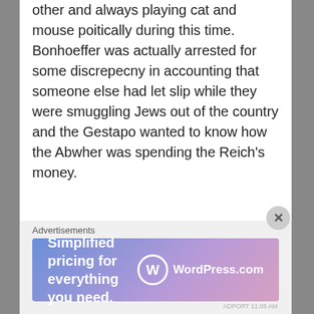other and always playing cat and mouse poitically during this time. Bonhoeffer was actually arrested for some discrepecny in accounting that someone else had let slip while they were smuggling Jews out of the country and the Gestapo wanted to know how the Abwher was spending the Reich's money.
It would be during this 18 months at Tegel Prison that the plot would be uncovered and Bonhoeffer transfered to Gestapo prisons and finally to
Advertisements
[Figure (other): WordPress.com advertisement banner: 'Simplified pricing for everything you need.' with WordPress.com logo on gradient blue-purple-pink background.]